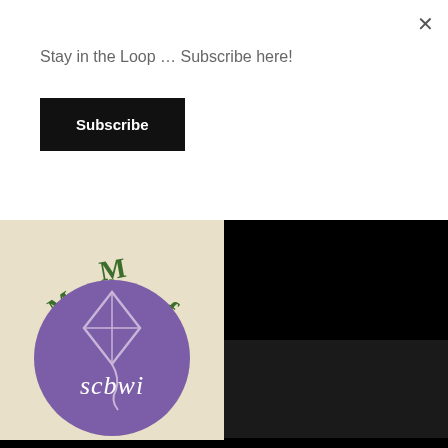Stay in the Loop … Subscribe here!
Subscribe
×
[Figure (logo): Member of SCBWI badge — purple circle with kite logo and 'scbwi' text, with 'Member of' text in green above]
[Figure (logo): The Word Verve Inc logo — stylized red V with wing-like serifs above lowercase 'tHEWORdVERVE INC' text in white on dark background]
© 2020 thewordverve.com